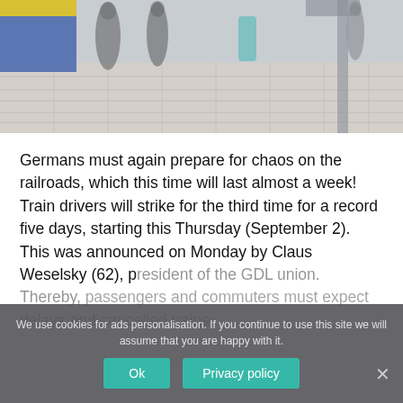[Figure (photo): Blurred photo of pedestrians at a bus or tram stop, with motion blur showing people walking on a tiled plaza. A yellow/blue vehicle is visible on the left, and a metal pole/shelter on the right. The scene is shot from a low angle.]
Germans must again prepare for chaos on the railroads, which this time will last almost a week! Train drivers will strike for the third time for a record five days, starting this Thursday (September 2). This was announced on Monday by Claus Weselsky (62), president of the GDL union. Thereby, passengers and commuters must expect delays and cancelled trains.
We use cookies for ads personalisation. If you continue to use this site we will assume that you are happy with it.